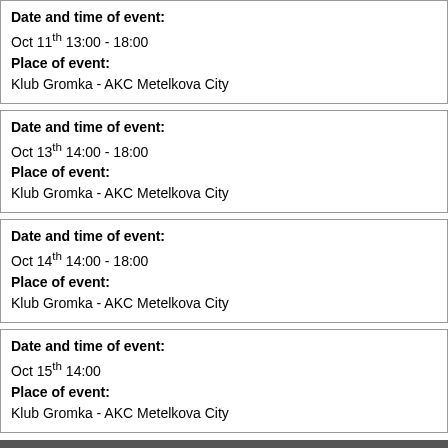Date and time of event:
Oct 11th 13:00 - 18:00
Place of event:
Klub Gromka - AKC Metelkova City
Date and time of event:
Oct 13th 14:00 - 18:00
Place of event:
Klub Gromka - AKC Metelkova City
Date and time of event:
Oct 14th 14:00 - 18:00
Place of event:
Klub Gromka - AKC Metelkova City
Date and time of event:
Oct 15th 14:00
Place of event:
Klub Gromka - AKC Metelkova City
Photo gallery:
The Art of Provocation, workshop
Video gallery:
Finucane & Smith: The Art of Provocation